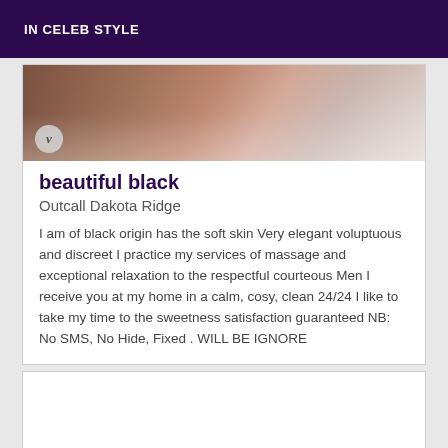IN CELEB STYLE
[Figure (photo): Partial photo of a person with dark skin wearing pink/mauve lace underwear, with a circular logo badge overlay showing the letter v]
beautiful black
Outcall Dakota Ridge
I am of black origin has the soft skin Very elegant voluptuous and discreet I practice my services of massage and exceptional relaxation to the respectful courteous Men I receive you at my home in a calm, cosy, clean 24/24 I like to take my time to the sweetness satisfaction guaranteed NB: No SMS, No Hide, Fixed . WILL BE IGNORE